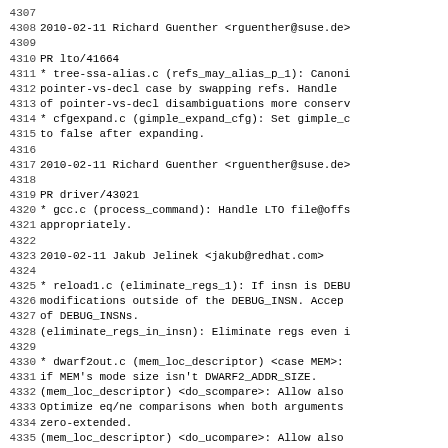4307
4308 2010-02-11  Richard Guenther  <rguenther@suse.de>
4309
4310         PR lto/41664
4311         * tree-ssa-alias.c (refs_may_alias_p_1): Canoni
4312         pointer-vs-decl case by swapping refs.  Handle
4313         of pointer-vs-decl disambiguations more conserv
4314         * cfgexpand.c (gimple_expand_cfg): Set gimple_c
4315         to false after expanding.
4316
4317 2010-02-11  Richard Guenther  <rguenther@suse.de>
4318
4319         PR driver/43021
4320         * gcc.c (process_command): Handle LTO file@offs
4321         appropriately.
4322
4323 2010-02-11  Jakub Jelinek  <jakub@redhat.com>
4324
4325         * reload1.c (eliminate_regs_1): If insn is DEBU
4326         modifications outside of the DEBUG_INSN.  Accep
4327         of DEBUG_INSNs.
4328         (eliminate_regs_in_insn): Eliminate regs even i
4329
4330         * dwarf2out.c (mem_loc_descriptor) <case MEM>:
4331         if MEM's mode size isn't DWARF2_ADDR_SIZE.
4332         (mem_loc_descriptor) <do_scompare>: Allow also
4333         Optimize eq/ne comparisons when both arguments
4334         zero-extended.
4335         (mem_loc_descriptor) <do_ucompare>: Allow also
4336         Don't mask operands unnecessarily if they are k
4337         zero-extended.
4338